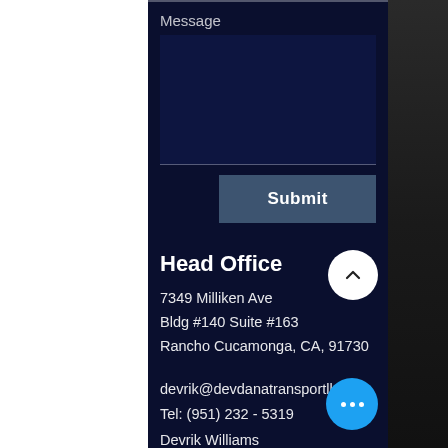Message
Submit
Head Office
7349 Milliken Ave
Bldg #140 Suite #163
Rancho Cucamonga, CA, 91730
devrik@devdanatransportllc.com
Tel: (951) 232 - 5319
Devrik Williams
CEO